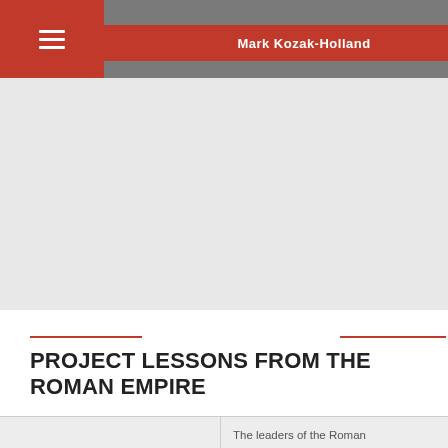[Figure (photo): Book cover image showing 'Mark Kozak-Holland' on a red banner, left panel is gray book region]
book describes the strategies he took to overcome incredible odds and turn the tide on the impending invasion. Aimed at business executives, IT managers, and project managers, the book extracts learnings from Churchill's experiences that can be applied to business problems today.
READ MORE
PROJECT LESSONS FROM THE ROMAN EMPIRE
The leaders of the Roman